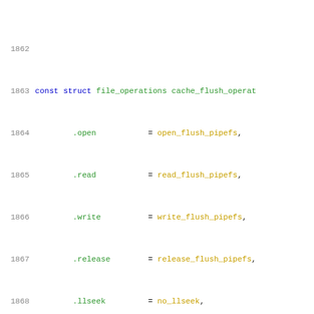Source code listing lines 1862-1883, C kernel code for cache operations
1862
1863  const struct file_operations cache_flush_operat
1864          .open           = open_flush_pipefs,
1865          .read           = read_flush_pipefs,
1866          .write          = write_flush_pipefs,
1867          .release        = release_flush_pipefs,
1868          .llseek         = no_llseek,
1869  };
1870
1871  int sunrpc_cache_register_pipefs(struct dentry
1872                                          const char *na
1873                                          struct cache_d
1874  {
1875          struct dentry *dir = rpc_create_cache_d
1876          if (IS_ERR(dir))
1877                  return PTR_ERR(dir);
1878          cd->pipefs = dir;
1879          return 0;
1880  }
1881  EXPORT_SYMBOL_GPL(sunrpc_cache_register_pipefs)
1882
1883  void sunrpc_cache_unregister_pipefs(struct cach